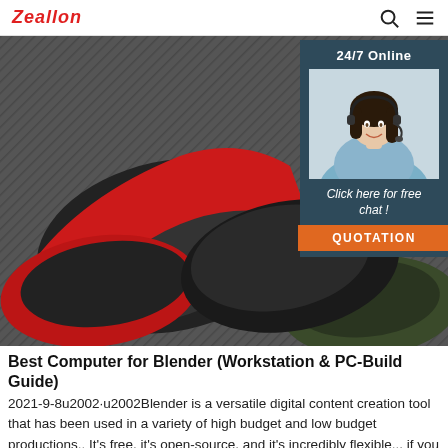Zeallon [search icon] [menu icon]
[Figure (photo): Close-up photo of computer mice or portable hard drives in red, black, and dark green colors on a diagonal striped dark background. Overlaid with a 24/7 online chat widget showing a smiling woman with a headset, 'Click here for free chat!' text, and an orange QUOTATION button.]
Best Computer for Blender (Workstation & PC-Build Guide)
2021-9-8u2002·u2002Blender is a versatile digital content creation tool that has been used in a variety of high budget and low budget productions.. It's free, it's open-source, and it's incredibly flexible... if you have the right workstation.. This guide will save